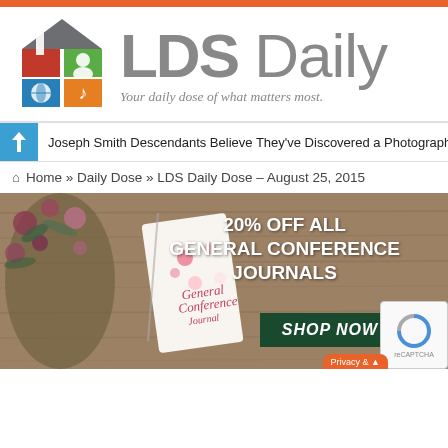[Figure (logo): LDS Daily logo with colorful house icon grid and bold LDS Daily text with tagline 'Your daily dose of what matters most.']
Joseph Smith Descendants Believe They've Discovered a Photograph...
Home » Daily Dose » LDS Daily Dose – August 25, 2015
[Figure (photo): Advertisement banner: '20% OFF ALL GENERAL CONFERENCE JOURNALS — SHOP NOW' with a floral General Conference journal on a wood background]